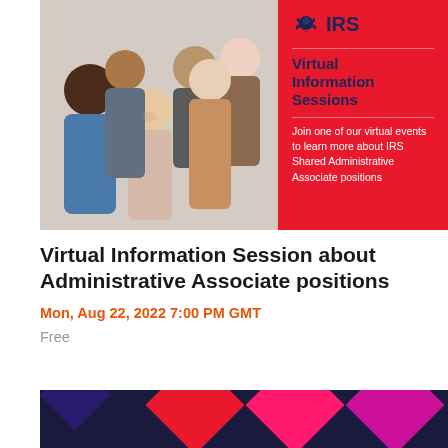[Figure (photo): IRS Virtual Information Sessions banner. Left side shows a group of diverse smiling people (five individuals of varied ethnicities). Right side is a red background with IRS eagle logo, 'IRS' text, 'Virtual Information Sessions' heading, and description text: 'Join one of our virtual events to learn more about IRS Shared Administrative Associate positions']
Virtual Information Session about Administrative Associate positions
Mon, Aug 22, 2022 7:00 PM GMT
Free
[Figure (illustration): Decorative bottom strip with dark navy background and colorful diamond/rhombus shapes in red, pink, and magenta colors]